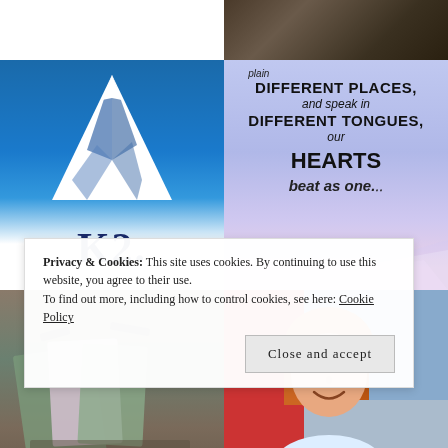[Figure (photo): Top right partial dark machinery/industrial photo]
[Figure (logo): K2 brand logo on a bottle with mountain graphic against blue sky background]
[Figure (illustration): Purple/blue background inspirational quote: 'DIFFERENT PLACES, and speak in DIFFERENT TONGUES, our HEARTS beat as one.' with decorative light rays]
[Figure (photo): Bottom left: books and cosmetics/stationery items on a table]
[Figure (photo): Bottom right: smiling woman with red/auburn hair, colorful background]
Privacy & Cookies: This site uses cookies. By continuing to use this website, you agree to their use.
To find out more, including how to control cookies, see here: Cookie Policy
Close and accept